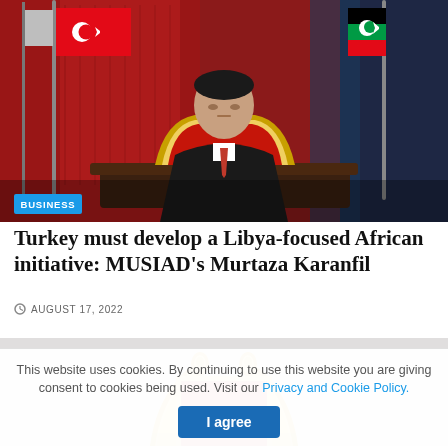[Figure (photo): Man in suit seated at a desk with a nameplate reading 'Murtaza KARANFIL', flanked by the Turkish flag on the left and the Libyan flag on the right, with a red painting on the wall behind. A cyan 'BUSINESS' tag overlays the bottom-left of the image.]
Turkey must develop a Libya-focused African initiative: MUSIAD's Murtaza Karanfil
AUGUST 17, 2022
[Figure (photo): Partial view of an ornate golden and red chair, partially cropped at the bottom of the page.]
This website uses cookies. By continuing to use this website you are giving consent to cookies being used. Visit our Privacy and Cookie Policy.
I agree